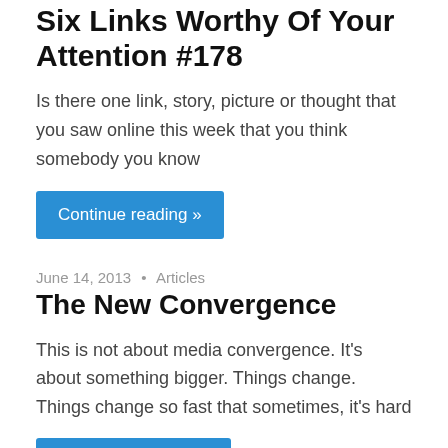Six Links Worthy Of Your Attention #178
Is there one link, story, picture or thought that you saw online this week that you think somebody you know
Continue reading »
June 14, 2013 • Articles
The New Convergence
This is not about media convergence. It's about something bigger. Things change. Things change so fast that sometimes, it's hard
Continue reading »